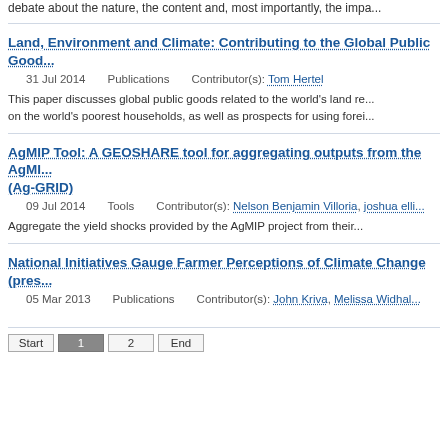debate about the nature, the content and, most importantly, the impa...
Land, Environment and Climate: Contributing to the Global Public Good...
31 Jul 2014    Publications    Contributor(s): Tom Hertel
This paper discusses global public goods related to the world's land re... on the world's poorest households, as well as prospects for using forei...
AgMIP Tool: A GEOSHARE tool for aggregating outputs from the AgMI... (Ag-GRID)
09 Jul 2014    Tools    Contributor(s): Nelson Benjamin Villoria, joshua elli...
Aggregate the yield shocks provided by the AgMIP project from their...
National Initiatives Gauge Farmer Perceptions of Climate Change (pres...
05 Mar 2013    Publications    Contributor(s): John Kriva, Melissa Widhal...
pagination: Start 1 2 End